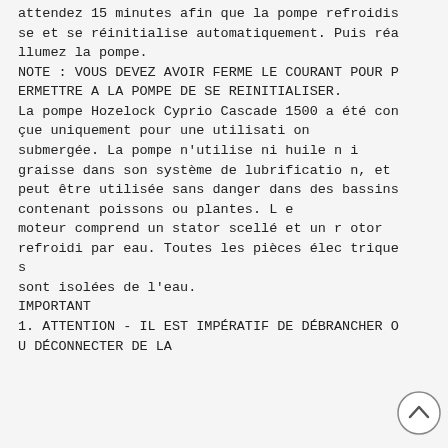attendez 15 minutes afin que la pompe refroidisse et se réinitialise automatiquement. Puis réallumez la pompe.
NOTE : VOUS DEVEZ AVOIR FERME LE COURANT POUR PERMETTRE A LA POMPE DE SE REINITIALISER.
La pompe Hozelock Cyprio Cascade 1500 a été conçue uniquement pour une utilisation submergée. La pompe n'utilise ni huile ni graisse dans son système de lubrification, et peut être utilisée sans danger dans des bassins contenant poissons ou plantes. Le moteur comprend un stator scellé et un rotor refroidi par eau. Toutes les pièces électriques sont isolées de l'eau.
IMPORTANT
1. ATTENTION - IL EST IMPÉRATIF DE DÉBRANCHER OU DÉCONNECTER DE LA